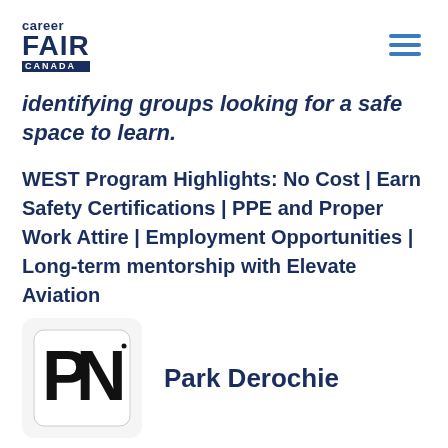career FAIR CANADA
identifying groups looking for a safe space to learn.
WEST Program Highlights: No Cost | Earn Safety Certifications | PPE and Proper Work Attire | Employment Opportunities | Long-term mentorship with Elevate Aviation
[Figure (logo): Park Derochie company logo — stylized PN letters in black and white]
Park Derochie